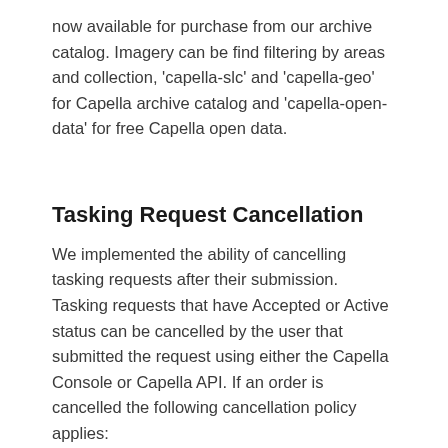now available for purchase from our archive catalog. Imagery can be find filtering by areas and collection, 'capella-slc' and 'capella-geo' for Capella archive catalog and 'capella-open-data' for free Capella open data.
Tasking Request Cancellation
We implemented the ability of cancelling tasking requests after their submission. Tasking requests that have Accepted or Active status can be cancelled by the user that submitted the request using either the Capella Console or Capella API. If an order is cancelled the following cancellation policy applies:
Cancellation < 72 hours before first collect of order =